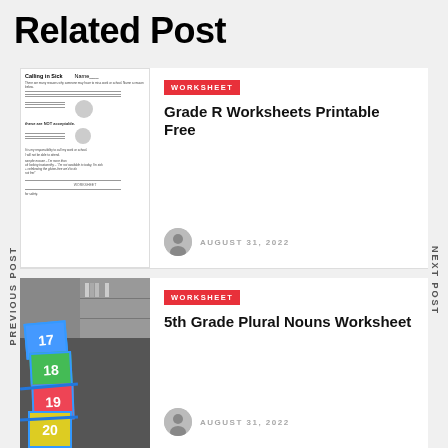Related Post
[Figure (illustration): Thumbnail of a 'Calling in Sick' worksheet with fill-in lines and small cartoon illustrations]
WORKSHEET
Grade R Worksheets Printable Free
AUGUST 31, 2022
[Figure (photo): Photo of colorful numbered floor tiles (17, 18, 19, 20) arranged on a dark carpet in a classroom or hallway, with storage shelving in background]
WORKSHEET
5th Grade Plural Nouns Worksheet
AUGUST 31, 2022